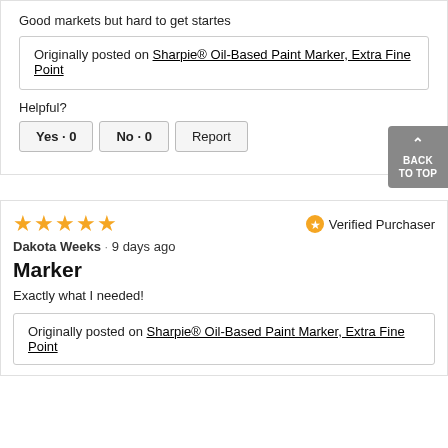Good markets but hard to get startes
Originally posted on Sharpie® Oil-Based Paint Marker, Extra Fine Point
Helpful?
Yes · 0   No · 0   Report
★★★★★  Verified Purchaser
Dakota Weeks · 9 days ago
Marker
Exactly what I needed!
Originally posted on Sharpie® Oil-Based Paint Marker, Extra Fine Point